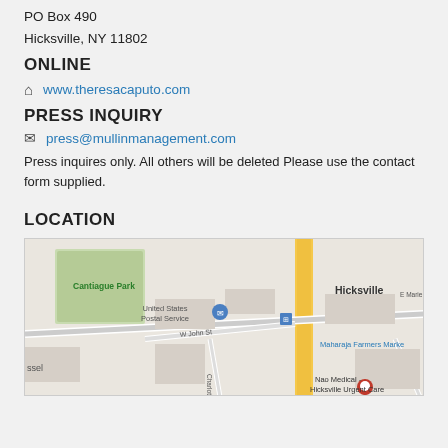PO Box 490
Hicksville, NY 11802
ONLINE
www.theresacaputo.com
PRESS INQUIRY
press@mullinmanagement.com
Press inquires only. All others will be deleted Please use the contact form supplied.
LOCATION
[Figure (map): Google Maps showing Hicksville, NY area with Cantiague Park, United States Postal Service, Maharaja Farmers Market, Nao Medical - Hicksville Urgent Care, W John St, E Marie St, Charlotte Ave, S Broadway visible]